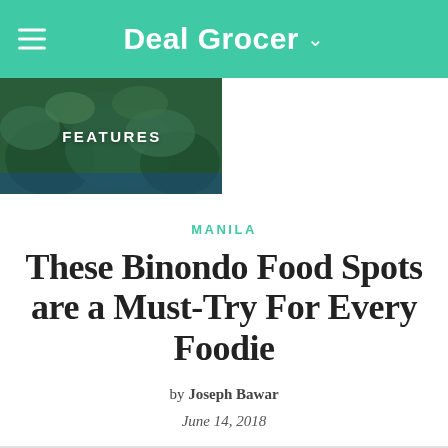Deal Grocer
[Figure (photo): Navigation photo strip showing two images: left side shows an aerial view of a tropical coastal area with trees, labeled FEATURES; right side shows an elegant restaurant or hotel interior with chairs, labeled LISTS.]
MANILA
These Binondo Food Spots are a Must-Try For Every Foodie
by Joseph Bawar
June 14, 2018